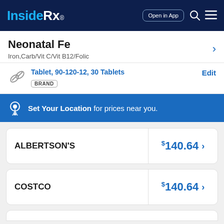Inside Rx® — Open in App
Neonatal Fe
Iron,Carb/Vit C/Vit B12/Folic
Tablet, 90-120-12, 30 Tablets   Edit   BRAND
Set Your Location for prices near you.
| Pharmacy | Price |
| --- | --- |
| ALBERTSON'S | $140.64 |
| COSTCO | $140.64 |